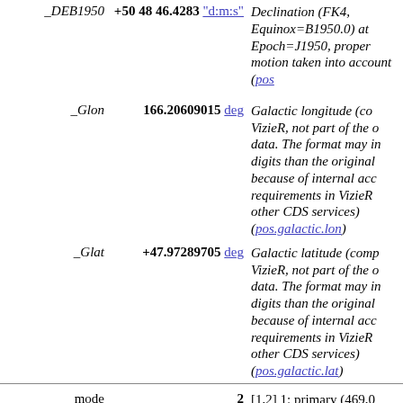| Field | Value | Description |
| --- | --- | --- |
| _DEB1950 | +50 48 46.4283 "d:m:s" | Declination (FK4, Equinox=B1950.0) at Epoch=J1950, proper motion taken into account (pos...) |
| _Glon | 166.20609015 deg | Galactic longitude (computed by VizieR, not part of the original data. The format may include more digits than the original because of internal accuracy requirements in VizieR and other CDS services) (pos.galactic.lon) |
| _Glat | +47.97289705 deg | Galactic latitude (computed by VizieR, not part of the original data. The format may include more digits than the original because of internal accuracy requirements in VizieR and other CDS services) (pos.galactic.lat) |
| mode | 2 | [1,2] 1: primary (469,0 sources), 2: secondary |